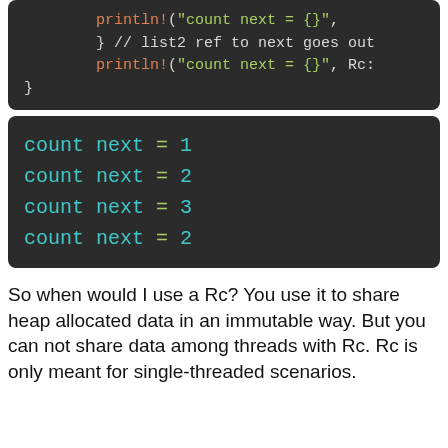[Figure (screenshot): Code block showing Rust code with println! and closing braces, syntax highlighted]
[Figure (screenshot): Terminal output block showing: count next = 1, count next = 2, count next = 3, count next = 2]
So when would I use a Rc? You use it to share heap allocated data in an immutable way. But you can not share data among threads with Rc. Rc is only meant for single-threaded scenarios.